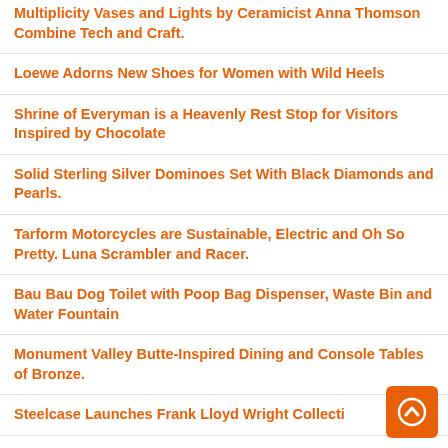Multiplicity Vases and Lights by Ceramicist Anna Thomson Combine Tech and Craft.
Loewe Adorns New Shoes for Women with Wild Heels
Shrine of Everyman is a Heavenly Rest Stop for Visitors Inspired by Chocolate
Solid Sterling Silver Dominoes Set With Black Diamonds and Pearls.
Tarform Motorcycles are Sustainable, Electric and Oh So Pretty. Luna Scrambler and Racer.
Bau Bau Dog Toilet with Poop Bag Dispenser, Waste Bin and Water Fountain
Monument Valley Butte-Inspired Dining and Console Tables of Bronze.
Steelcase Launches Frank Lloyd Wright Collecti…
Blown Glass and Porcelain No Limit Vases By…